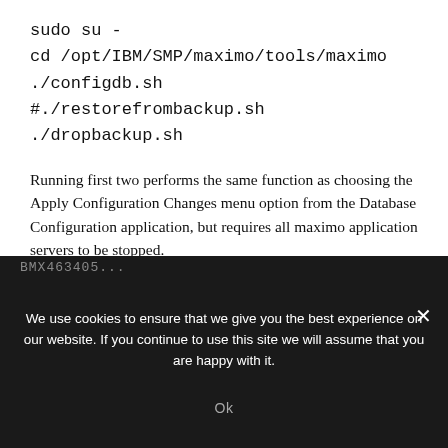sudo su -
cd /opt/IBM/SMP/maximo/tools/maximo
./configdb.sh
#./restorefrombackup.sh
./dropbackup.sh
Running first two performs the same function as choosing the Apply Configuration Changes menu option from the Database Configuration application, but requires all maximo application servers to be stopped.
Example response :
BMX... (partially visible, cut off)
We use cookies to ensure that we give you the best experience on our website. If you continue to use this site we will assume that you are happy with it.